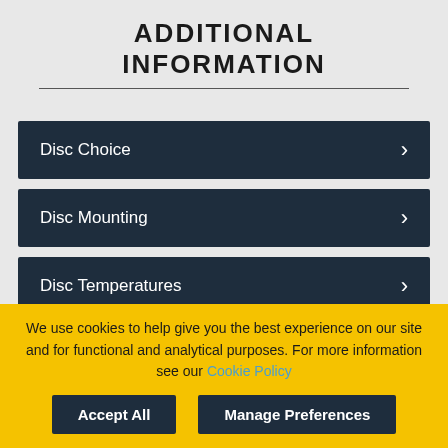ADDITIONAL INFORMATION
Disc Choice
Disc Mounting
Disc Temperatures
We use cookies to help give you the best experience on our site and for functional and analytical purposes. For more information see our Cookie Policy
Accept All | Manage Preferences